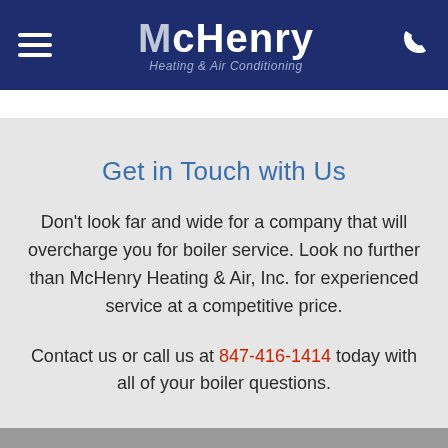McHenry Heating & Air Conditioning
Get in Touch with Us
Don't look far and wide for a company that will overcharge you for boiler service. Look no further than McHenry Heating & Air, Inc. for experienced service at a competitive price.
Contact us or call us at 847-416-1414 today with all of your boiler questions.